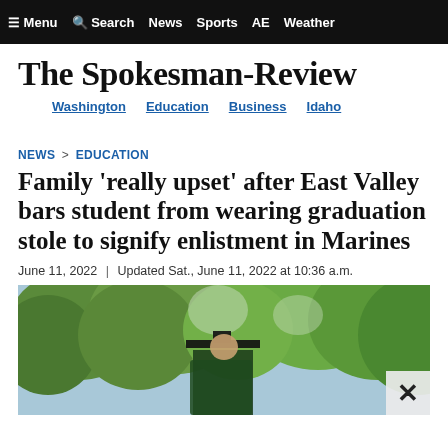≡ Menu  🔍 Search  News  Sports  AE  Weather
The Spokesman-Review
Washington  Education  Business  Idaho
NEWS > EDUCATION
Family 'really upset' after East Valley bars student from wearing graduation stole to signify enlistment in Marines
June 11, 2022 | Updated Sat., June 11, 2022 at 10:36 a.m.
[Figure (photo): A person in a graduation cap and gown photographed outdoors among green trees]